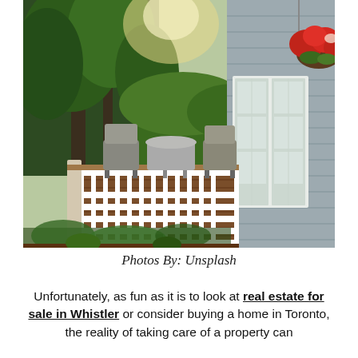[Figure (photo): Outdoor wooden deck of a house with white railing, wicker chairs and a table on the deck, lush green trees in the background, and red geraniums in a hanging basket near white French doors of a grey-sided house.]
Photos By: Unsplash
Unfortunately, as fun as it is to look at real estate for sale in Whistler or consider buying a home in Toronto, the reality of taking care of a property can